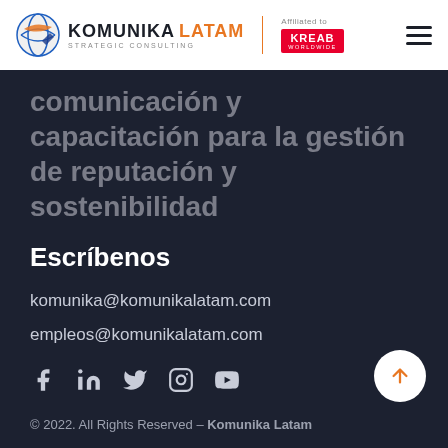[Figure (logo): Komunika Latam Strategic Consulting logo with globe icon, vertical red divider, and Kreab Worldwide affiliated badge]
comunicación y capacitación para la gestión de reputación y sostenibilidad
Escríbenos
komunika@komunikalatam.com
empleos@komunikalatam.com
[Figure (infographic): Social media icons row: Facebook, LinkedIn, Twitter, Instagram, YouTube]
© 2022. All Rights Reserved – Komunika Latam